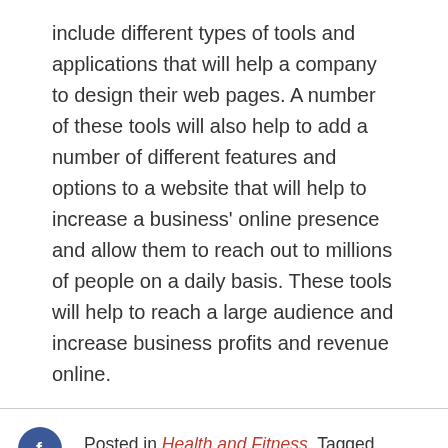include different types of tools and applications that will help a company to design their web pages. A number of these tools will also help to add a number of different features and options to a website that will help to increase a business' online presence and allow them to reach out to millions of people on a daily basis. These tools will help to reach a large audience and increase business profits and revenue online.
Posted in Health and Fitness  Tagged Responsive Web Design, web design, Web Design Company, web design services, Website Designer Near Me
WHAT TO CONSIDER WHEN